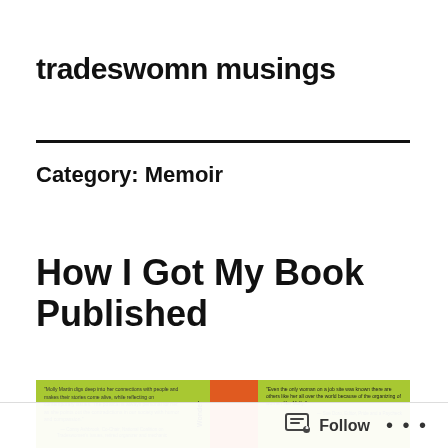tradeswomn musings
Category: Memoir
How I Got My Book Published
[Figure (photo): Book cover banner with green background, orange spine area, and two text blurbs about the book from reviewers.]
Follow • • •